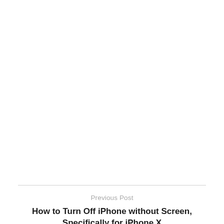Previous Post
How to Turn Off iPhone without Screen, Specifically for iPhone X